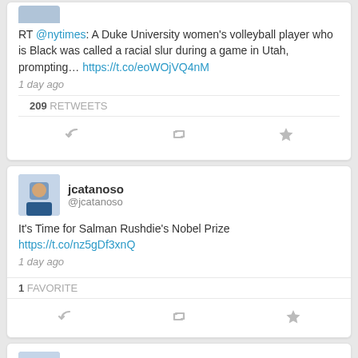[Figure (screenshot): Partial tweet card showing RT @nytimes tweet about Duke University women's volleyball player racial slur incident]
RT @nytimes: A Duke University women's volleyball player who is Black was called a racial slur during a game in Utah, prompting… https://t.co/eoWOjVQ4nM
1 day ago
209 RETWEETS
[Figure (screenshot): Tweet card from jcatanoso (@jcatanoso) about Salman Rushdie Nobel Prize]
jcatanoso @jcatanoso
It's Time for Salman Rushdie's Nobel Prize https://t.co/nz5gDf3xnQ
1 day ago
1 FAVORITE
[Figure (screenshot): Partial tweet card from jcatanoso (@jcatanoso)]